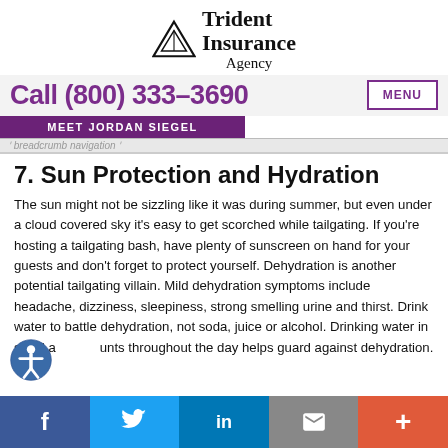Trident Insurance Agency — Call (800) 333-3690 — MEET JORDAN SIEGEL — MENU
7. Sun Protection and Hydration
The sun might not be sizzling like it was during summer, but even under a cloud covered sky it's easy to get scorched while tailgating. If you're hosting a tailgating bash, have plenty of sunscreen on hand for your guests and don't forget to protect yourself. Dehydration is another potential tailgating villain. Mild dehydration symptoms include headache, dizziness, sleepiness, strong smelling urine and thirst. Drink water to battle dehydration, not soda, juice or alcohol. Drinking water in small amounts throughout the day helps guard against dehydration. If
Facebook | Twitter | LinkedIn | Email | +